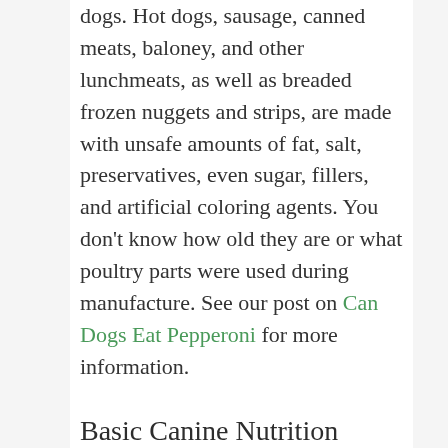dogs. Hot dogs, sausage, canned meats, baloney, and other lunchmeats, as well as breaded frozen nuggets and strips, are made with unsafe amounts of fat, salt, preservatives, even sugar, fillers, and artificial coloring agents. You don't know how old they are or what poultry parts were used during manufacture. See our post on Can Dogs Eat Pepperoni for more information.
Basic Canine Nutrition
Each species has its own nutritional needs. However, each individual has its own nutritional needs as well,